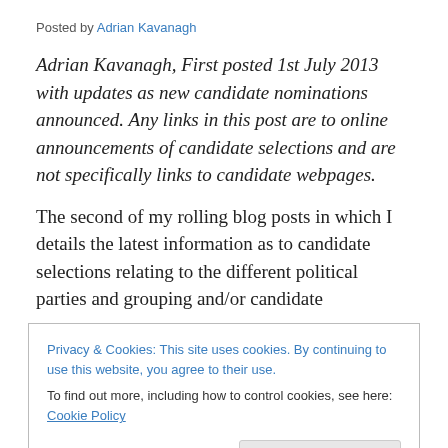Posted by Adrian Kavanagh
Adrian Kavanagh, First posted 1st July 2013 with updates as new candidate nominations announced. Any links in this post are to online announcements of candidate selections and are not specifically links to candidate webpages.
The second of my rolling blog posts in which I details the latest information as to candidate selections relating to the different political parties and grouping and/or candidate
Privacy & Cookies: This site uses cookies. By continuing to use this website, you agree to their use.
To find out more, including how to control cookies, see here: Cookie Policy
Close and accept
candidate selections. Sinn Fein currently has fifty four